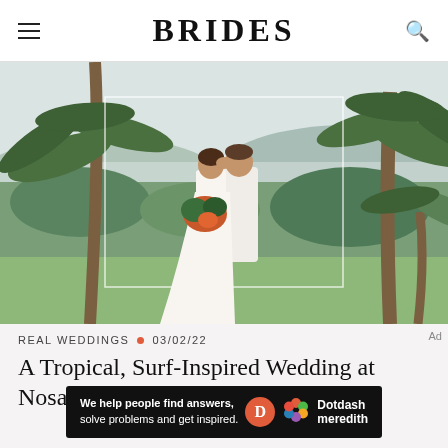BRIDES
[Figure (photo): A couple kissing at their outdoor tropical wedding. The bride wears a white gown and holds a tropical bouquet with orange flowers and green leaves. The groom wears a white suit. They stand on a green lawn surrounded by tall palm trees, with mountains and ocean in the background. A rectangular decorative frame outline is visible around them.]
REAL WEDDINGS • 03/02/22
A Tropical, Surf-Inspired Wedding at Nosara Beach Hotel in Costa Rica
[Figure (logo): Dotdash Meredith advertisement banner: black background with text 'We help people find answers, solve problems and get inspired.' and the Dotdash Meredith logo (orange D circle and colorful hexagonal flower icon).]